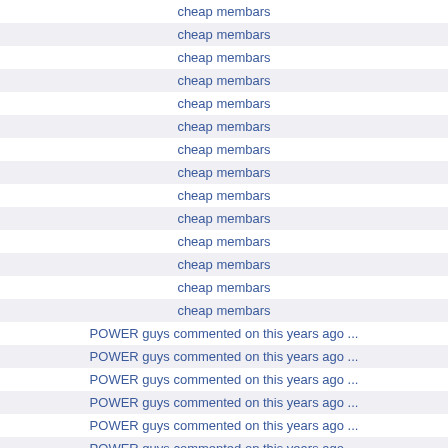cheap membars
cheap membars
cheap membars
cheap membars
cheap membars
cheap membars
cheap membars
cheap membars
cheap membars
cheap membars
cheap membars
cheap membars
cheap membars
cheap membars
POWER guys commented on this years ago ...
POWER guys commented on this years ago ...
POWER guys commented on this years ago ...
POWER guys commented on this years ago ...
POWER guys commented on this years ago ...
POWER guys commented on this years ago ...
POWER guys commented on this years ago ...
POWER guys commented on this years ago ...